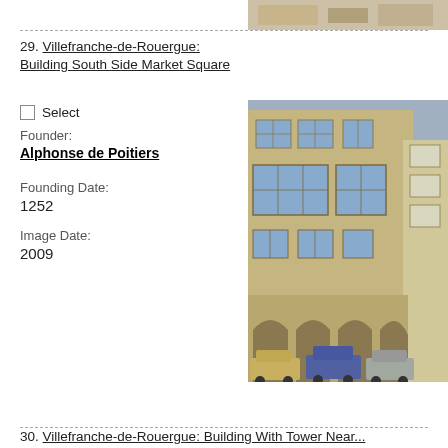[Figure (photo): Top partial photo of a stone building or structure, cropped at top of page]
29. Villefranche-de-Rouergue: Building South Side Market Square
Select
Founder: Alphonse de Poitiers
Founding Date: 1252
Image Date: 2009
[Figure (photo): Photo of a medieval stone building on the south side of a market square in Villefranche-de-Rouergue, with arched arcades on the ground floor and multi-pane windows on upper floors, cars parked in front.]
30. Villefranche-de-Rouergue: Building With Tower Near...